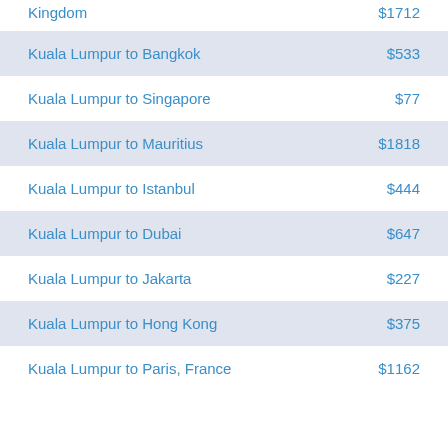| Route | Price |
| --- | --- |
| Kingdom | $1712 |
| Kuala Lumpur to Bangkok | $533 |
| Kuala Lumpur to Singapore | $77 |
| Kuala Lumpur to Mauritius | $1818 |
| Kuala Lumpur to Istanbul | $444 |
| Kuala Lumpur to Dubai | $647 |
| Kuala Lumpur to Jakarta | $227 |
| Kuala Lumpur to Hong Kong | $375 |
| Kuala Lumpur to Paris, France | $1162 |